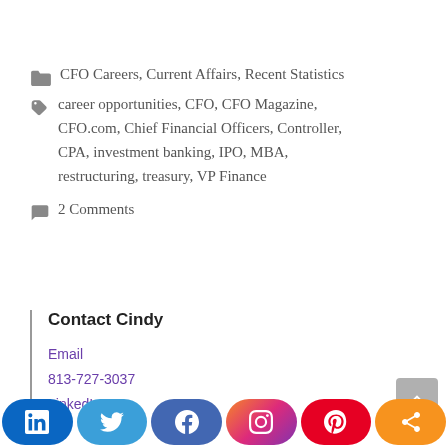CFO Careers, Current Affairs, Recent Statistics
career opportunities, CFO, CFO Magazine, CFO.com, Chief Financial Officers, Controller, CPA, investment banking, IPO, MBA, restructuring, treasury, VP Finance
2 Comments
Contact Cindy
Email
813-727-3037
LinkedIn